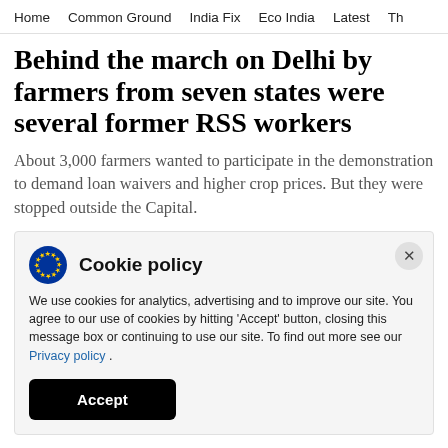Home   Common Ground   India Fix   Eco India   Latest   Th
Behind the march on Delhi by farmers from seven states were several former RSS workers
About 3,000 farmers wanted to participate in the demonstration to demand loan waivers and higher crop prices. But they were stopped outside the Capital.
Cookie policy
We use cookies for analytics, advertising and to improve our site. You agree to our use of cookies by hitting 'Accept' button, closing this message box or continuing to use our site. To find out more see our Privacy policy .